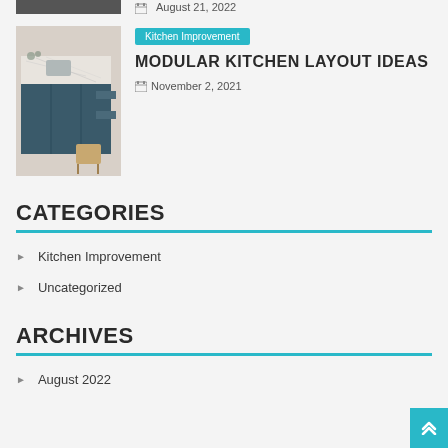August 21, 2022
[Figure (photo): Kitchen island with marble countertop and dark blue cabinets]
Kitchen Improvement
MODULAR KITCHEN LAYOUT IDEAS
November 2, 2021
CATEGORIES
Kitchen Improvement
Uncategorized
ARCHIVES
August 2022